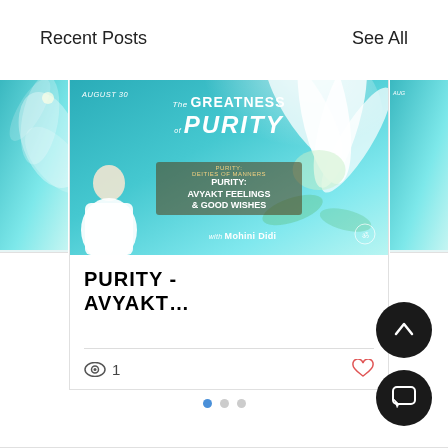Recent Posts    See All
[Figure (screenshot): Mobile app screenshot showing a blog/post card for 'Purity - Avyakt...' with a decorative teal flower image header, view count of 1, and a heart icon. Partial cards visible on left and right. Pagination dots below. Two dark circular FAB buttons on bottom right (up arrow and chat bubble).]
PURITY - AVYAKT...
1